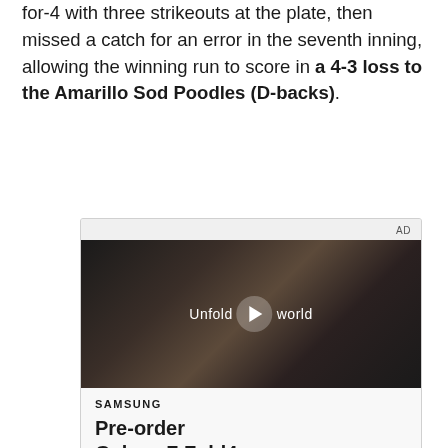for-4 with three strikeouts at the plate, then missed a catch for an error in the seventh inning, allowing the winning run to score in a 4-3 loss to the Amarillo Sod Poodles (D-backs).
[Figure (screenshot): Advertisement for Samsung Galaxy Z Fold4. Shows an AD label, a video thumbnail with a woman in a car holding a foldable phone with text 'Unfold your world' and a play button overlay, and below the video: 'SAMSUNG' brand name and 'Pre-order Galaxy Z Fold4' text.]